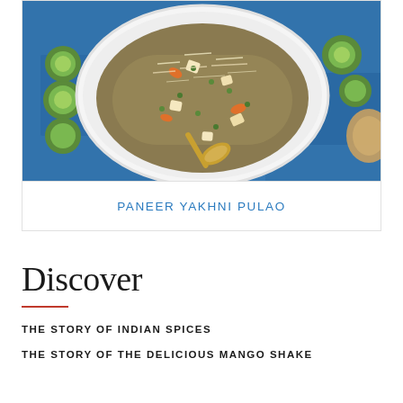[Figure (photo): Overhead photo of Paneer Yakhni Pulao served on a white oval plate with a gold spoon, on a blue painted surface with sliced cucumbers and carrots around it. Rice dish garnished with cheese and herbs.]
PANEER YAKHNI PULAO
Discover
THE STORY OF INDIAN SPICES
THE STORY OF THE DELICIOUS MANGO SHAKE